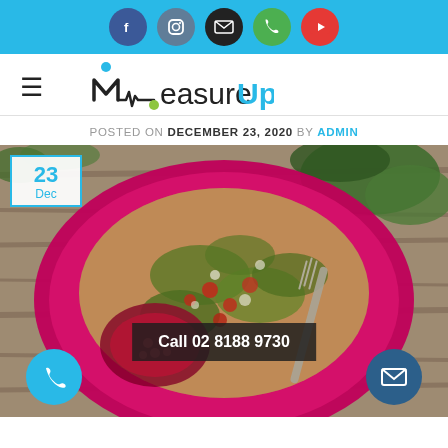Social media icon bar: Facebook, Instagram, Email, Phone, YouTube
[Figure (logo): MeasureUp logo with stylized M and heartbeat line, blue and green dots, with hamburger menu icon]
POSTED ON DECEMBER 23, 2020 BY ADMIN
[Figure (photo): Overhead photo of a pink/magenta plate with grain and pomegranate salad with greens and fork on wooden table. Date badge: 23 Dec. Call button: Call 02 8188 9730. Phone icon button and email icon button overlaid.]